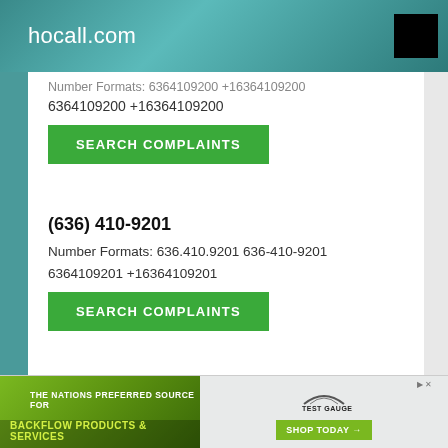hocall.com
Number Formats: 6364109200 +16364109200
SEARCH COMPLAINTS
(636) 410-9201
Number Formats: 636.410.9201 636-410-9201 6364109201 +16364109201
SEARCH COMPLAINTS
(636) 410-9202
Number Formats: 636.410.9202 636-410-9202 6364109202 +16364109202
SEARCH COMPLAINTS
THE NATIONS PREFERRED SOURCE FOR BACKFLOW PRODUCTS & SERVICES — SHOP TODAY